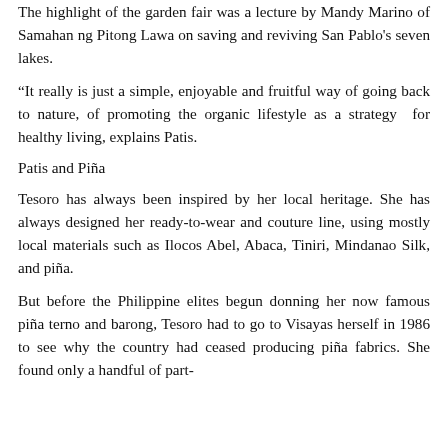The highlight of the garden fair was a lecture by Mandy Marino of Samahan ng Pitong Lawa on saving and reviving San Pablo's seven lakes.
“It really is just a simple, enjoyable and fruitful way of going back to nature, of promoting the organic lifestyle as a strategy for healthy living, explains Patis.
Patis and Piña
Tesoro has always been inspired by her local heritage. She has always designed her ready-to-wear and couture line, using mostly local materials such as Ilocos Abel, Abaca, Tiniri, Mindanao Silk, and piña.
But before the Philippine elites begun donning her now famous piña terno and barong, Tesoro had to go to Visayas herself in 1986 to see why the country had ceased producing piña fabrics. She found only a handful of part-